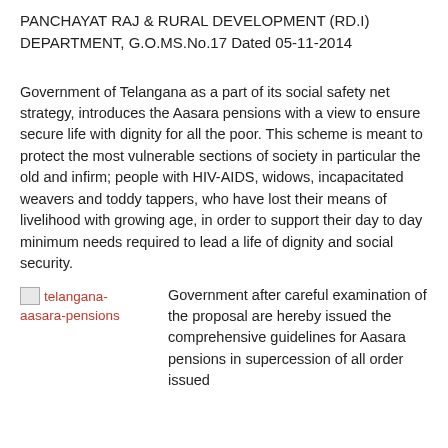PANCHAYAT RAJ & RURAL DEVELOPMENT (RD.I) DEPARTMENT, G.O.MS.No.17 Dated 05-11-2014
Government of Telangana as a part of its social safety net strategy, introduces the Aasara pensions with a view to ensure secure life with dignity for all the poor. This scheme is meant to protect the most vulnerable sections of society in particular the old and infirm; people with HIV-AIDS, widows, incapacitated weavers and toddy tappers, who have lost their means of livelihood with growing age, in order to support their day to day minimum needs required to lead a life of dignity and social security.
[Figure (photo): Image placeholder showing telangana-aasara-pensions image link in red text]
Government after careful examination of the proposal are hereby issued the comprehensive guidelines for Aasara pensions in supercession of all order issued